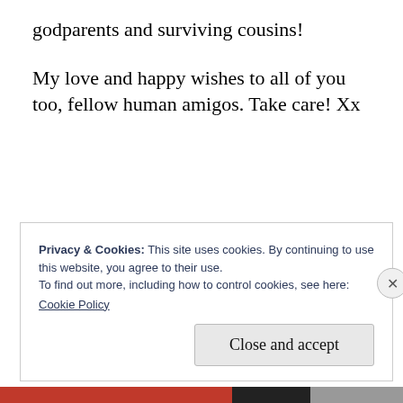godparents and surviving cousins!
My love and happy wishes to all of you too, fellow human amigos. Take care! Xx
Privacy & Cookies: This site uses cookies. By continuing to use this website, you agree to their use.
To find out more, including how to control cookies, see here:
Cookie Policy
Close and accept